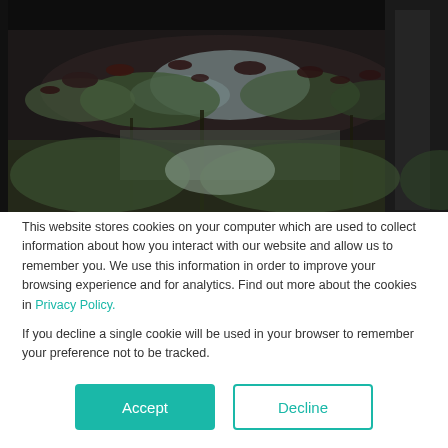[Figure (photo): Outdoor photograph of a pond or water feature with lily pads visible on dark water, reflecting trees and bright sky. Taken from under a structure/roof with pillars visible at right edge.]
This website stores cookies on your computer which are used to collect information about how you interact with our website and allow us to remember you. We use this information in order to improve your browsing experience and for analytics. Find out more about the cookies in Privacy Policy.
If you decline a single cookie will be used in your browser to remember your preference not to be tracked.
Accept
Decline